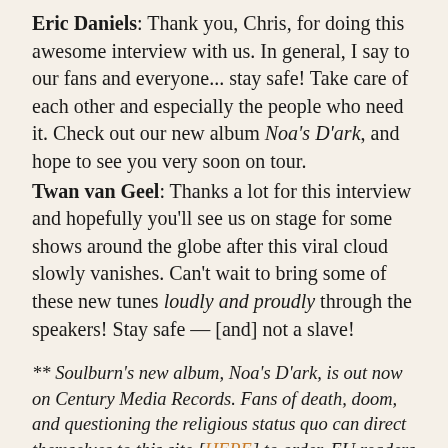Eric Daniels: Thank you, Chris, for doing this awesome interview with us. In general, I say to our fans and everyone... stay safe! Take care of each other and especially the people who need it. Check out our new album Noa's D'ark, and hope to see you very soon on tour.
Twan van Geel: Thanks a lot for this interview and hopefully you'll see us on stage for some shows around the globe after this viral cloud slowly vanishes. Can't wait to bring some of these new tunes loudly and proudly through the speakers! Stay safe — [and] not a slave!
** Soulburn's new album, Noa's D'ark, is out now on Century Media Records. Fans of death, doom, and questioning the religious status quo can direct themselves to this site [HERE] to order. EU readers can go direct to Century Media's site for CD and vinyl